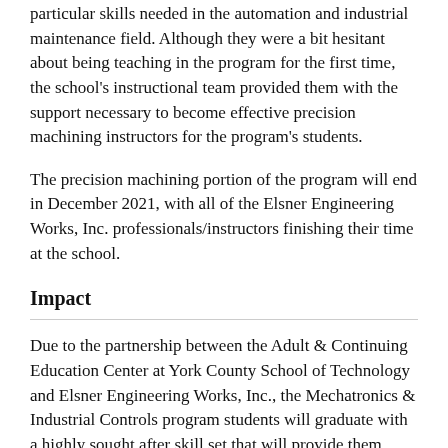particular skills needed in the automation and industrial maintenance field. Although they were a bit hesitant about being teaching in the program for the first time, the school's instructional team provided them with the support necessary to become effective precision machining instructors for the program's students.
The precision machining portion of the program will end in December 2021, with all of the Elsner Engineering Works, Inc. professionals/instructors finishing their time at the school.
Impact
Due to the partnership between the Adult & Continuing Education Center at York County School of Technology and Elsner Engineering Works, Inc., the Mechatronics & Industrial Controls program students will graduate with a highly sought after skill set that will provide them many opportunities for employment beyond graduation.
Both the Adult & Continuing Education Center at York County School of Technology and Elsner Engineering Works, Inc. also